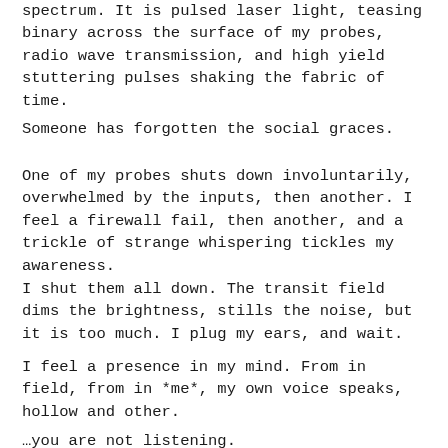spectrum.  It is pulsed laser light, teasing binary across the surface of my probes, radio wave transmission, and high yield stuttering pulses shaking the fabric of time.
Someone has forgotten the social graces.
One of my probes shuts down involuntarily, overwhelmed by the inputs, then another.  I feel a firewall fail, then another, and a trickle of strange whispering tickles my awareness.
I shut them all down.  The transit field dims the brightness, stills the noise, but it is too much.  I plug my ears, and wait.
I feel a presence in my mind.  From in field, from in *me*, my own voice speaks, hollow and other.
…you are not listening.